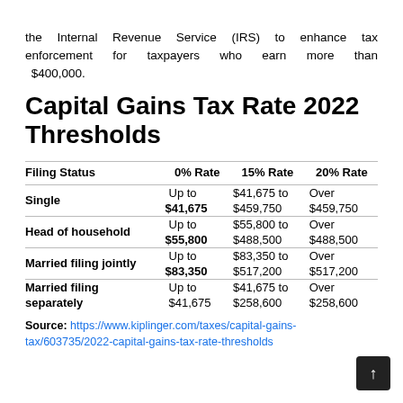the Internal Revenue Service (IRS) to enhance tax enforcement for taxpayers who earn more than $400,000.
Capital Gains Tax Rate 2022 Thresholds
| Filing Status | 0% Rate | 15% Rate | 20% Rate |
| --- | --- | --- | --- |
| Single | Up to
$41,675 | $41,675 to
$459,750 | Over
$459,750 |
| Head of household | Up to
$55,800 | $55,800 to
$488,500 | Over
$488,500 |
| Married filing jointly | Up to
$83,350 | $83,350 to
$517,200 | Over
$517,200 |
| Married filing separately | Up to
$41,675 | $41,675 to
$258,600 | Over
$258,600 |
Source: https://www.kiplinger.com/taxes/capital-gains-tax/603735/2022-capital-gains-tax-rate-thresholds